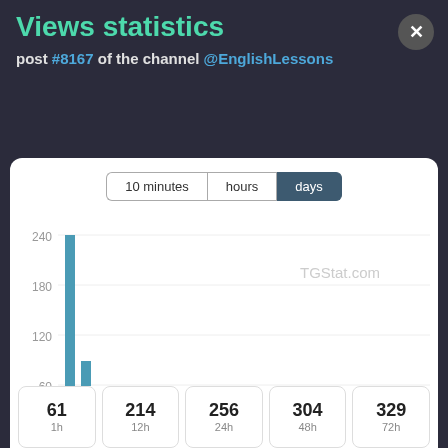Views statistics
post #8167 of the channel @EnglishLessons
[Figure (bar-chart): TGStat.com]
| 61
1h | 214
12h | 256
24h | 304
48h | 329
72h |
| --- | --- | --- | --- | --- |